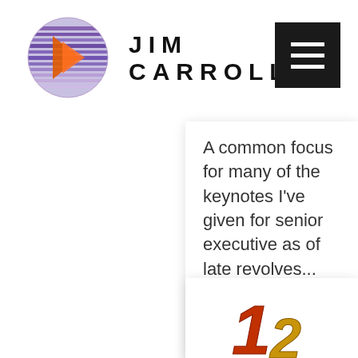[Figure (logo): Jim Carroll website logo: purple/blue globe with speed-lines icon and 'JIM CARROLL' text in spaced caps, with hamburger menu button top right]
A common focus for many of the keynotes I've given for senior executive as of late revolves...
READ MORE
[Figure (photo): 3D rendered golden/red number '1' and '2' or similar numbers partially visible at bottom of page]